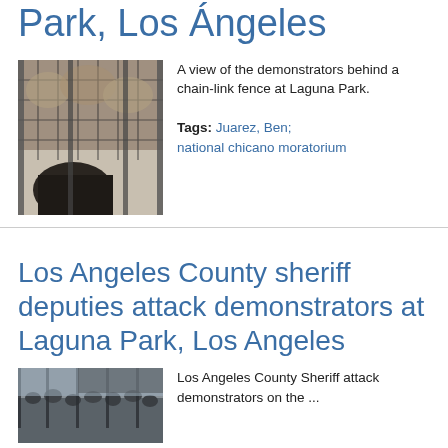Park, Los Angeles
[Figure (photo): Black and white photo of demonstrators behind a chain-link fence at Laguna Park.]
A view of the demonstrators behind a chain-link fence at Laguna Park. Tags: Juarez, Ben; national chicano moratorium
Los Angeles County sheriff deputies attack demonstrators at Laguna Park, Los Angeles
[Figure (photo): Black and white photo showing Los Angeles County Sheriff attack on demonstrators at a park.]
Los Angeles County Sheriff attack demonstrators on the ...